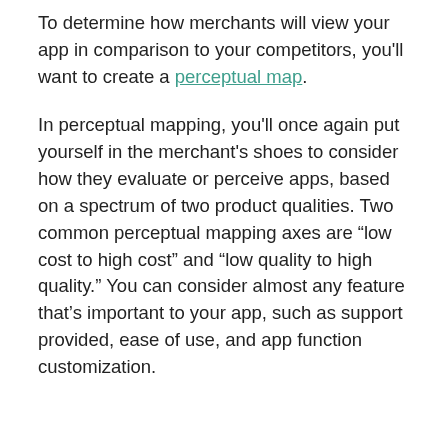To determine how merchants will view your app in comparison to your competitors, you'll want to create a perceptual map.
In perceptual mapping, you'll once again put yourself in the merchant's shoes to consider how they evaluate or perceive apps, based on a spectrum of two product qualities. Two common perceptual mapping axes are “low cost to high cost” and “low quality to high quality.” You can consider almost any feature that’s important to your app, such as support provided, ease of use, and app function customization.